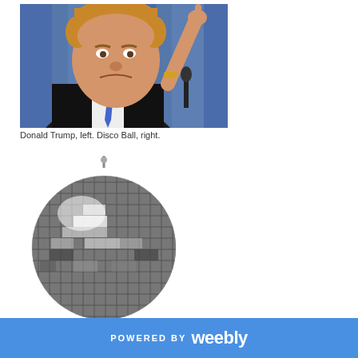[Figure (photo): Photograph of Donald Trump pointing upward with one finger, against a blue curtain background, with a microphone visible]
Donald Trump, left. Disco Ball, right.
[Figure (illustration): Illustration of a mirrored disco ball with a hanging pin at the top, showing grid-pattern mirror tiles in silver and grey tones]
POWERED BY weebly